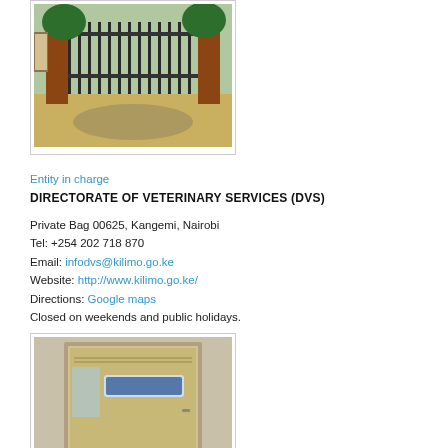[Figure (photo): Gate entrance with metal fencing and brick pillars, puddle of water on driveway]
Entity in charge
DIRECTORATE OF VETERINARY SERVICES (DVS)
Private Bag 00625, Kangemi, Nairobi
Tel: +254 202 718 870
Email: infodvs@kilimo.go.ke
Website: http://www.kilimo.go.ke/
Directions: Google maps
Closed on weekends and public holidays.
[Figure (photo): Photo of a door with signage/stickers on it]